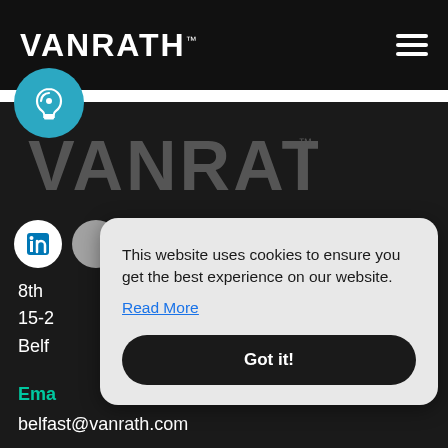VANRATH™
[Figure (logo): VANRATH™ logo in white on dark navigation bar, with hamburger menu icon on right]
[Figure (illustration): Blue circle with white ear/hearing accessibility icon]
[Figure (logo): Large VANRATH™ logo in dark gray on black background]
[Figure (illustration): Social media icons row: LinkedIn circle and several other social circles, partially obscured by cookie banner]
8th
15-2
Belf
Ema
belfast@vanrath.com
This website uses cookies to ensure you get the best experience on our website.
Read More
Got it!